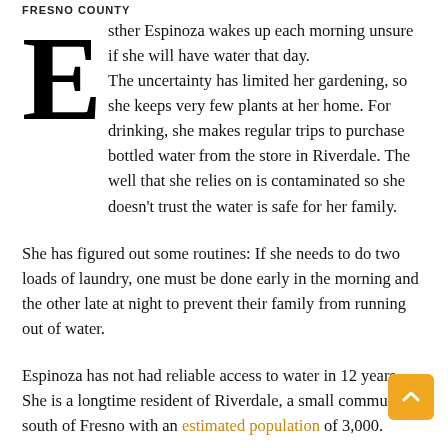FRESNO COUNTY
Esther Espinoza wakes up each morning unsure if she will have water that day. The uncertainty has limited her gardening, so she keeps very few plants at her home. For drinking, she makes regular trips to purchase bottled water from the store in Riverdale. The well that she relies on is contaminated so she doesn't trust the water is safe for her family.
She has figured out some routines: If she needs to do two loads of laundry, one must be done early in the morning and the other late at night to prevent their family from running out of water.
Espinoza has not had reliable access to water in 12 years. She is a longtime resident of Riverdale, a small community south of Fresno with an estimated population of 3,000.